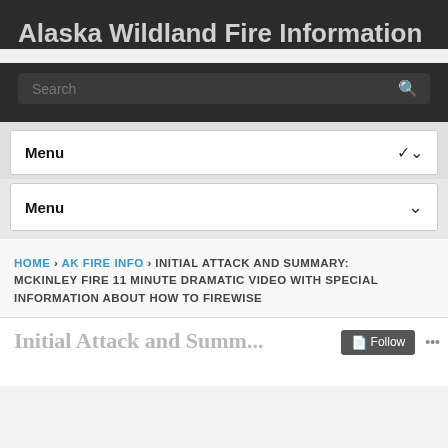Alaska Wildland Fire Information
[Figure (screenshot): Search bar with text 'Search' and magnifying glass icon on dark background]
Menu ∨
Menu ∨
HOME › AK FIRE INFO › INITIAL ATTACK AND SUMMARY: MCKINLEY FIRE 11 MINUTE DRAMATIC VIDEO WITH SPECIAL INFORMATION ABOUT HOW TO FIREWISE
Initial Attack and Summary: